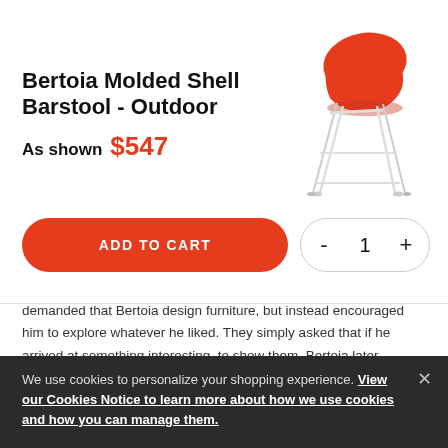[Figure (photo): Orange/red molded shell barstool with white wire legs on white background]
Bertoia Molded Shell Barstool - Outdoor
As shown $547
ADD TO CART
demanded that Bertoia design furniture, but instead encouraged him to explore whatever he liked. They simply asked that if he arrived at something interesting, to show them. Bertoia later explained the process:
“I went around and discovered, quite soon, that I was not the man to do research. My feeling was that had to come from an inward direction. I began
We use cookies to personalize your shopping experience. View our Cookies Notice to learn more about how we use cookies and how you can manage them.